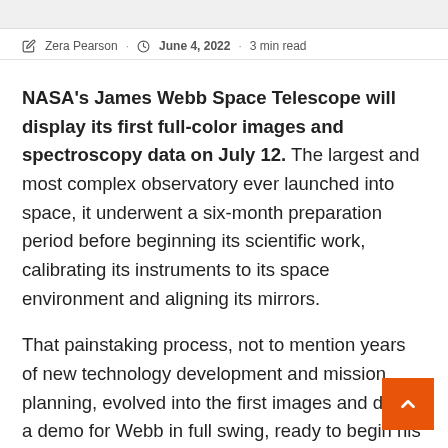Science · Info
Zera Pearson · June 4, 2022 · 3 min read
NASA's James Webb Space Telescope will display its first full-color images and spectroscopy data on July 12. The largest and most complex observatory ever launched into space, it underwent a six-month preparation period before beginning its scientific work, calibrating its instruments to its space environment and aligning its mirrors.
That painstaking process, not to mention years of new technology development and mission planning, evolved into the first images and data: a demo for Webb in full swing, ready to begin his science mission and reveal the infrared world, according to NASA.